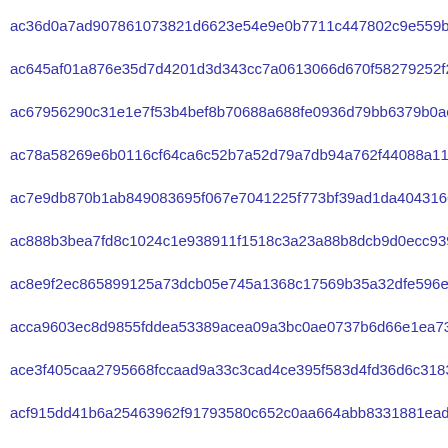ac36d0a7ad907861073821d6623e54e9e0b7711c447802c9e559b0e4af318
ac645af01a876e35d7d4201d3d343cc7a0613066d670f58279252f2c35d13
ac67956290c31e1e7f53b4bef8b70688a688fe0936d79bb6379b0ac0fc16a
ac78a58269e6b0116cf64ca6c52b7a52d79a7db94a762f44088a11182450a
ac7e9db870b1ab849083695f067e7041225f773bf39ad1da40431662e5e5e
ac888b3bea7fd8c1024c1e938911f1518c3a23a88b8dcb9d0ecc9397e83c0
ac8e9f2ec865899125a73dcb05e745a1368c17569b35a32dfe596e53cbdb5
acca9603ec8d9855fddea53389acea09a3bc0ae0737b6d66e1ea73c923924
ace3f405caa2795668fccaad9a33c3cad4ce395f583d4fd36d6c3183caac0
acf915dd41b6a25463962f91793580c652c0aa664abb8331881eadc3ef369
acfc48e20699c85607153c8adeae7edfa234eafcfecdacfc65eb6583e2646